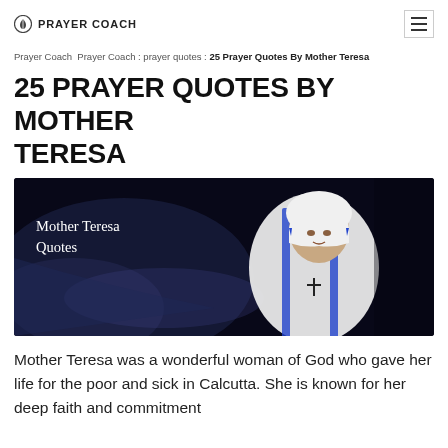PRAYER COACH
Prayer Coach Prayer Coach : prayer quotes : 25 Prayer Quotes By Mother Teresa
25 PRAYER QUOTES BY MOTHER TERESA
[Figure (photo): Banner image showing Mother Teresa in her white and blue habit, smiling, with the text 'Mother Teresa Quotes' overlaid on a dark background]
Mother Teresa was a wonderful woman of God who gave her life for the poor and sick in Calcutta. She is known for her deep faith and commitment